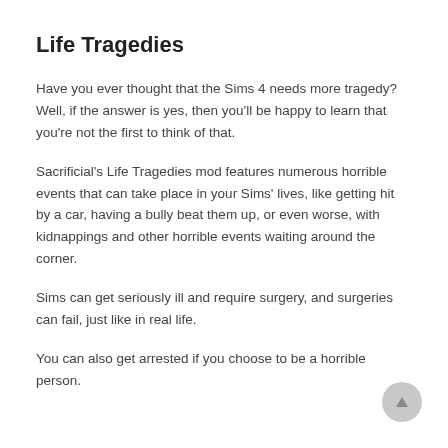Life Tragedies
Have you ever thought that the Sims 4 needs more tragedy? Well, if the answer is yes, then you'll be happy to learn that you're not the first to think of that.
Sacrificial's Life Tragedies mod features numerous horrible events that can take place in your Sims' lives, like getting hit by a car, having a bully beat them up, or even worse, with kidnappings and other horrible events waiting around the corner.
Sims can get seriously ill and require surgery, and surgeries can fail, just like in real life.
You can also get arrested if you choose to be a horrible person.